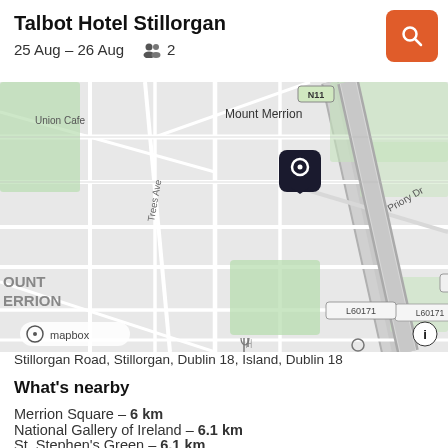Talbot Hotel Stillorgan
25 Aug – 26 Aug   👥 2
[Figure (map): Map showing location of Talbot Hotel Stillorgan near N11/Stillorgan Road, Dublin. Shows areas of Mount Merrion, Union Cafe, Trees Ave, Priory Dr, road labels N11 and L60171. A dark pin marker indicates the hotel location. Map attribution: mapbox.]
Stillorgan Road, Stillorgan, Dublin 18, Island, Dublin 18
What's nearby
Merrion Square – 6 km
National Gallery of Ireland – 6.1 km
St. Stephen's Green – 6.1 km